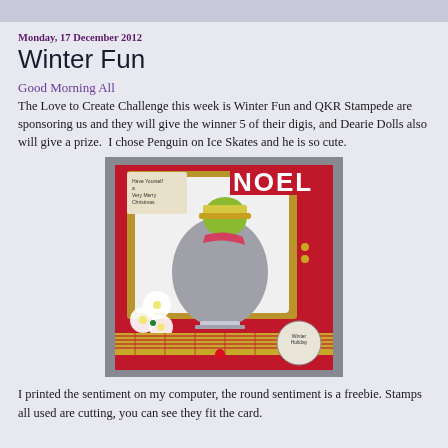Monday, 17 December 2012
Winter Fun
Good Morning All
The Love to Create Challenge this week is Winter Fun and QKR Stampede are sponsoring us and they will give the winner 5 of their digis, and Dearie Dolls also will give a prize.  I chose Penguin on Ice Skates and he is so cute.
[Figure (photo): A handmade Christmas card featuring a penguin on ice skates with the word NOEL on a red background, decorated with white flowers and plaid ribbon.]
I printed the sentiment on my computer, the round sentiment is a freebie. Stamps all used are cutting, you can see they fit the card.